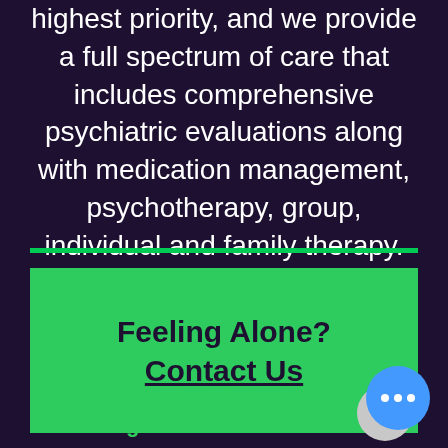highest priority, and we provide a full spectrum of care that includes comprehensive psychiatric evaluations along with medication management, psychotherapy, group, individual and family therapy.
Feeling Alone? Contact Us
For Life-Threatening Emergencies Call 911